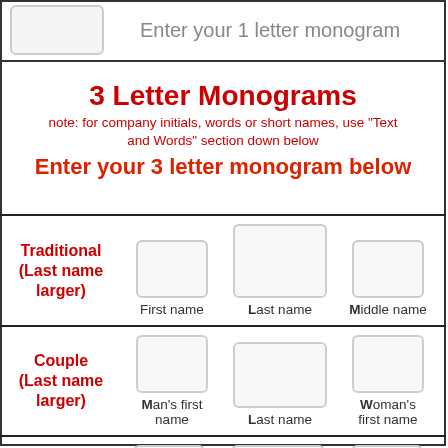Enter your 1 letter monogram
3 Letter Monograms
note: for company initials, words or short names, use "Text and Words" section down below
Enter your 3 letter monogram below
| Traditional (Last name larger) | First name | Last name | Middle name |
| --- | --- | --- | --- |
| Couple (Last name larger) | Man's first name | Last name | Woman's first name |
| --- | --- | --- | --- |
| Man or masculine |
| --- |